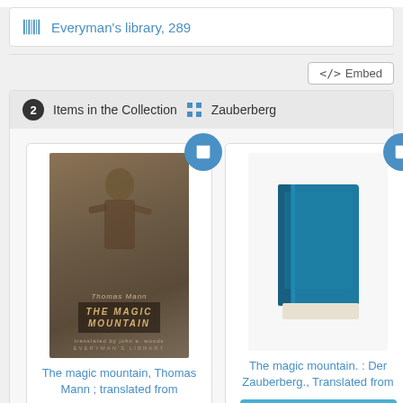Everyman's library, 289
2 Items in the Collection  Zauberberg
[Figure (illustration): Book cover of 'The Magic Mountain' by Thomas Mann, a sepia-toned image of a man with a small illustrated title overlay]
The magic mountain, Thomas Mann ; translated from
Borrow it
[Figure (illustration): Generic blue book icon/illustration representing The Magic Mountain: Der Zauberberg]
The magic mountain. : Der Zauberberg., Translated from
Borrow it